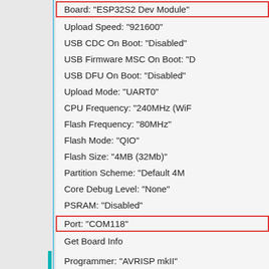[Figure (screenshot): Arduino IDE Tools menu screenshot showing board configuration settings for ESP32S2 Dev Module with highlighted entries for Board and Port selections]
Board: "ESP32S2 Dev Module"
Upload Speed: "921600"
USB CDC On Boot: "Disabled"
USB Firmware MSC On Boot: "D..."
USB DFU On Boot: "Disabled"
Upload Mode: "UART0"
CPU Frequency: "240MHz (WiF..."
Flash Frequency: "80MHz"
Flash Mode: "QIO"
Flash Size: "4MB (32Mb)"
Partition Scheme: "Default 4M..."
Core Debug Level: "None"
PSRAM: "Disabled"
Port: "COM118"
Get Board Info
Programmer: "AVRISP mkII"
Burn Bootloader